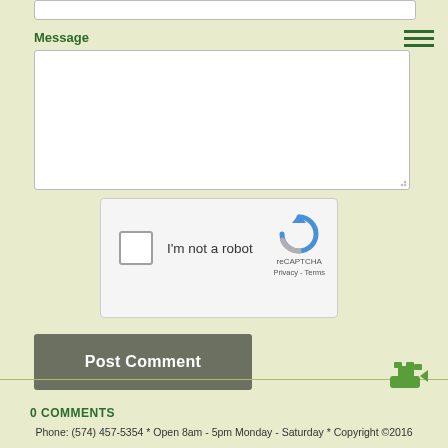Message
[Figure (screenshot): reCAPTCHA widget with checkbox 'I'm not a robot' and reCAPTCHA logo with Privacy and Terms links]
Post Comment
0 Comments
[Figure (illustration): Green hand holding money/cash icon in footer area]
Phone: (574) 457-5354 * Open 8am - 5pm Monday - Saturday * Copyright ©2016